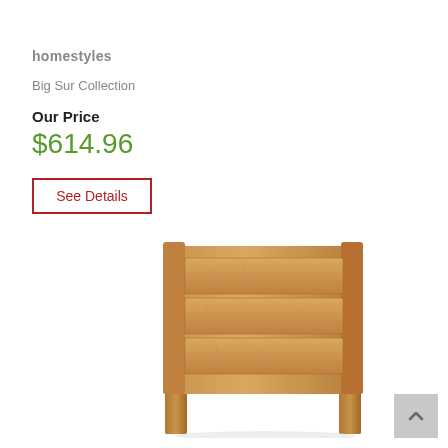homestyles
Big Sur Collection
Our Price
$614.96
See Details
[Figure (photo): Wooden headboard with horizontal plank panels and two legs, natural oak/maple finish, shown on white background.]